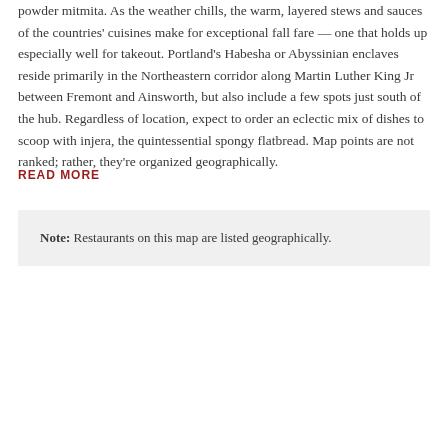powder mitmita. As the weather chills, the warm, layered stews and sauces of the countries' cuisines make for exceptional fall fare — one that holds up especially well for takeout. Portland's Habesha or Abyssinian enclaves reside primarily in the Northeastern corridor along Martin Luther King Jr between Fremont and Ainsworth, but also include a few spots just south of the hub. Regardless of location, expect to order an eclectic mix of dishes to scoop with injera, the quintessential spongy flatbread. Map points are not ranked; rather, they're organized geographically.
READ MORE
Note: Restaurants on this map are listed geographically.